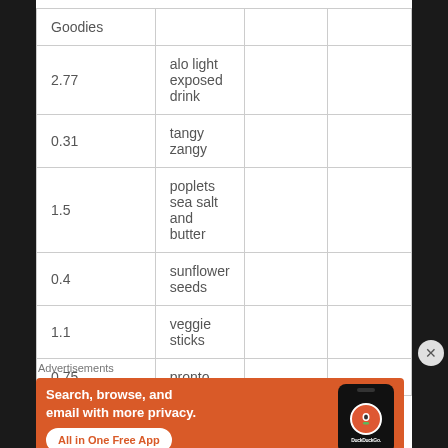|  |  |  |  |
| --- | --- | --- | --- |
| Goodies |  |  |  |
| 2.77 | alo light exposed drink |  |  |
| 0.31 | tangy zangy |  |  |
| 1.5 | poplets sea salt and butter |  |  |
| 0.4 | sunflower seeds |  |  |
| 1.1 | veggie sticks |  |  |
| 0.75 | pronto |  |  |
[Figure (other): DuckDuckGo advertisement banner: 'Search, browse, and email with more privacy. All in One Free App' with DuckDuckGo logo and phone graphic on orange background]